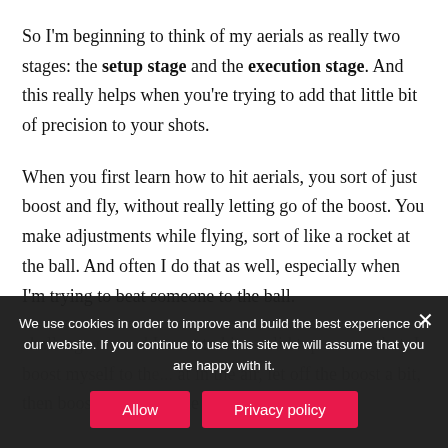So I'm beginning to think of my aerials as really two stages: the setup stage and the execution stage. And this really helps when you're trying to add that little bit of precision to your shots.
When you first learn how to hit aerials, you sort of just boost and fly, without really letting go of the boost. You make adjustments while flying, sort of like a rocket at the ball. And often I do that as well, especially when I'm trying to beat someone to the ball.
challenge me and I want to hit a solid top corner shot, I boost myself to th... at in the air, let off the boost a bit, then boost again into the exact spot I
We use cookies in order to improve and build the best experience on our website. If you continue to use this site we will assume that you are happy with it.